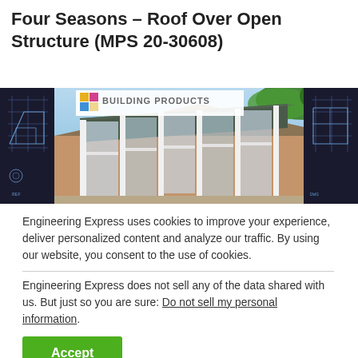Four Seasons – Roof Over Open Structure (MPS 20-30608)
[Figure (photo): Wide banner image showing a white-framed conservatory/sunroom structure with large glass panels and a slanted roof, set against a garden background with brick house and trees. Left side shows a dark technical/engineering blueprint overlay. A logo reading 'BUILDING PRODUCTS' with a colored grid icon appears in the upper-left area of the image.]
Engineering Express uses cookies to improve your experience, deliver personalized content and analyze our traffic. By using our website, you consent to the use of cookies.
Engineering Express does not sell any of the data shared with us. But just so you are sure: Do not sell my personal information.
Accept